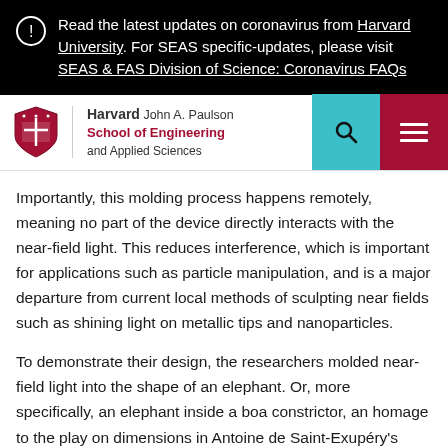Read the latest updates on coronavirus from Harvard University. For SEAS specific-updates, please visit SEAS & FAS Division of Science: Coronavirus FAQs
[Figure (logo): Harvard John A. Paulson School of Engineering and Applied Sciences logo with shield and navigation buttons]
Importantly, this molding process happens remotely, meaning no part of the device directly interacts with the near-field light. This reduces interference, which is important for applications such as particle manipulation, and is a major departure from current local methods of sculpting near fields such as shining light on metallic tips and nanoparticles.
To demonstrate their design, the researchers molded near-field light into the shape of an elephant. Or, more specifically, an elephant inside a boa constrictor, an homage to the play on dimensions in Antoine de Saint-Exupéry's classic The Little Prince.